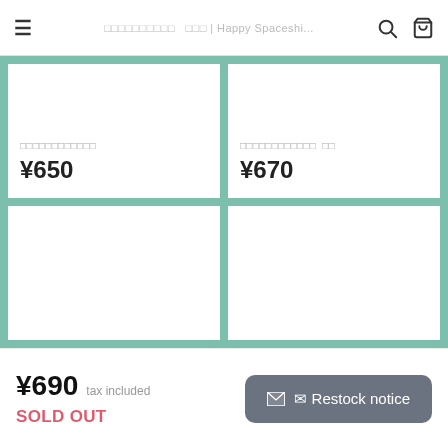☰  □□□□□□□□□□  □□□ | Happy Spaceshi...  🔍  🛒
[Figure (other): Product card top-left: white card with Japanese product name and price ¥650]
□□□□□□□□□□□□
¥650
[Figure (other): Product card top-right: white card with Japanese product name and price ¥670]
□□□□□□□□□□□□　□□
¥670
[Figure (other): Product card bottom-left: white card (no text visible, cut off)]
[Figure (other): Product card bottom-right: white card (no text visible, cut off)]
¥690 tax included
SOLD OUT
✉ Restock notice